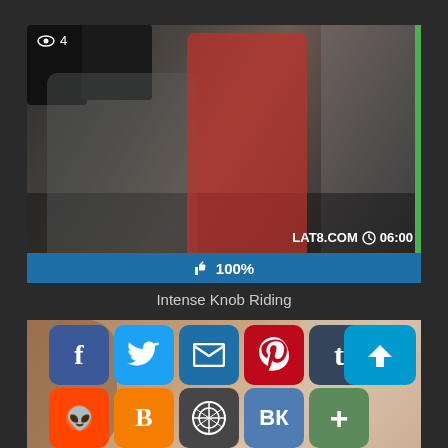[Figure (screenshot): Video thumbnail showing two people in a kitchen/bar setting. A man in gray shirt kneeling and a woman in red dress standing. Overlay shows eye icon with '4' views in top-left and 'LAT8.COM' with clock icon and '06:00' duration in bottom-right. A green vertical bar on the right edge.]
👍 100%
Intense Knob Riding
[Figure (screenshot): Second video thumbnail partially visible showing people, with social media share buttons overlaid: Facebook, Twitter, Email, Pinterest, Tumblr (top row); Reddit, Blogger, WordPress, VK, More (bottom row). A scroll-to-top button on the right.]